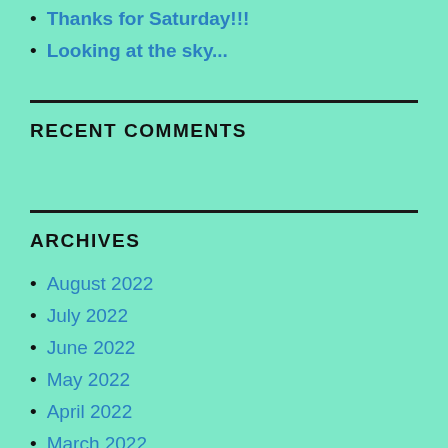Thanks for Saturday!!!
Looking at the sky...
RECENT COMMENTS
ARCHIVES
August 2022
July 2022
June 2022
May 2022
April 2022
March 2022